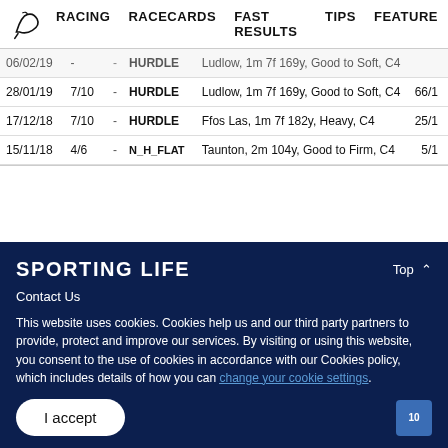RACING   RACECARDS   FAST RESULTS   TIPS   FEATURE
| Date | Pos |  | Type | Detail | Odds |
| --- | --- | --- | --- | --- | --- |
| 06/02/19 | - | - | HURDLE | Ludlow, 1m 7f 169y, Good to Soft, C4 |  |
| 28/01/19 | 7/10 | - | HURDLE | Ludlow, 1m 7f 169y, Good to Soft, C4 | 66/1 |
| 17/12/18 | 7/10 | - | HURDLE | Ffos Las, 1m 7f 182y, Heavy, C4 | 25/1 |
| 15/11/18 | 4/6 | - | N_H_FLAT | Taunton, 2m 104y, Good to Firm, C4 | 5/1 |
SPORTING LIFE
Contact Us
This website uses cookies. Cookies help us and our third party partners to provide, protect and improve our services. By visiting or using this website, you consent to the use of cookies in accordance with our Cookies policy, which includes details of how you can change your cookie settings.
I accept